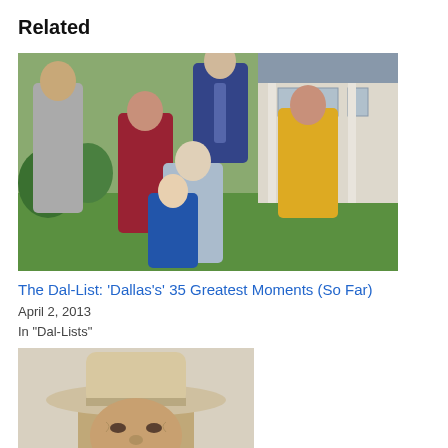Related
[Figure (photo): Group photo of Dallas TV show cast members posing outside a house with green lawn. Multiple people including men in suits and women in colorful dresses.]
The Dal-List: 'Dallas's' 35 Greatest Moments (So Far)
April 2, 2013
In "Dal-Lists"
[Figure (photo): Close-up photo of an older man wearing a tan/beige cowboy hat, looking stern. Only the face and top of shoulders visible.]